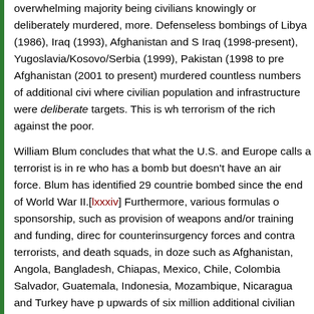overwhelming majority being civilians knowingly or deliberately murdered, more. Defenseless bombings of Libya (1986), Iraq (1993), Afghanistan and S Iraq (1998-present), Yugoslavia/Kosovo/Serbia (1999), Pakistan (1998 to pre Afghanistan (2001 to present) murdered countless numbers of additional civi where civilian population and infrastructure were deliberate targets. This is wh terrorism of the rich against the poor.
William Blum concludes that what the U.S. and Europe calls a terrorist is in re who has a bomb but doesn't have an air force. Blum has identified 29 countrie bombed since the end of World War II.[lxxxiv] Furthermore, various formulas o sponsorship, such as provision of weapons and/or training and funding, direc for counterinsurgency forces and contra terrorists, and death squads, in doze such as Afghanistan, Angola, Bangladesh, Chiapas, Mexico, Chile, Colombia Salvador, Guatemala, Indonesia, Mozambique, Nicaragua and Turkey have p upwards of six million additional civilian murders, with millions of others maim wholesale terrorism of the rich against the poor. The United States governme lengths to remain in denial about its crimes, using the old psychological trick o calling others the evil ones. In 1999, the Department of Defense concluded: " expect conflicts in which adversaries, because of cultural affinities different fro resort to forms and levels of violence shocking to our sensibilities."[lxxxv]